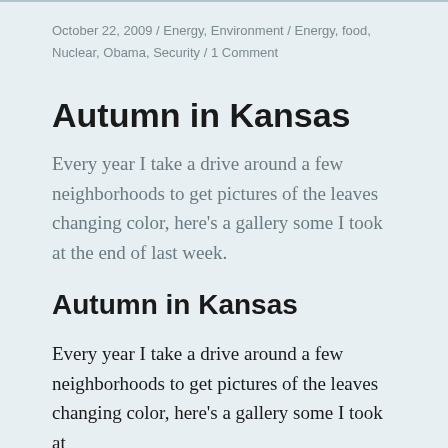October 22, 2009 / Energy, Environment / Energy, food, Nuclear, Obama, Security / 1 Comment
Autumn in Kansas
Every year I take a drive around a few neighborhoods to get pictures of the leaves changing color, here’s a gallery some I took at the end of last week.
Autumn in Kansas
Every year I take a drive around a few neighborhoods to get pictures of the leaves changing color, here’s a gallery some I took at